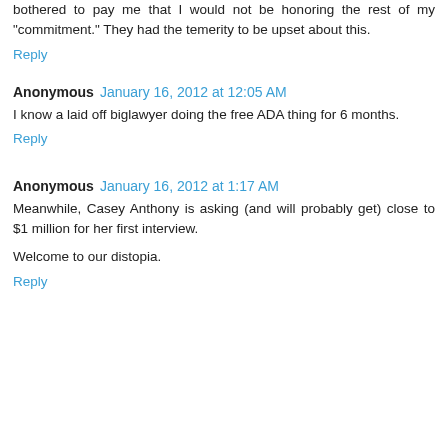bothered to pay me that I would not be honoring the rest of my "commitment." They had the temerity to be upset about this.
Reply
Anonymous  January 16, 2012 at 12:05 AM
I know a laid off biglawyer doing the free ADA thing for 6 months.
Reply
Anonymous  January 16, 2012 at 1:17 AM
Meanwhile, Casey Anthony is asking (and will probably get) close to $1 million for her first interview.

Welcome to our distopia.
Reply